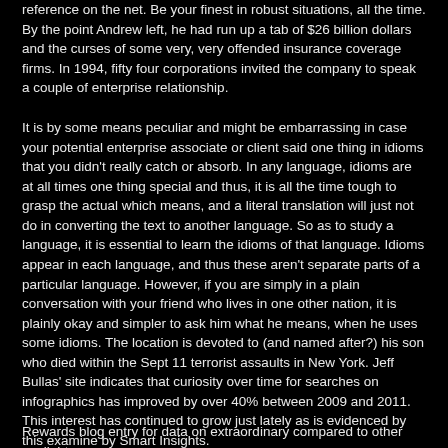reference on the net. Be your finest in robust situations, all the time. By the point Andrew left, he had run up a tab of $26 billion dollars and the curses of some very, very offended insurance coverage firms. In 1994, fifty four corporations invited the company to speak a couple of enterprise relationship.
It is by some means peculiar and might be embarrassing in case your potential enterprise associate or client said one thing in idioms that you didn't really catch or absorb. In any language, idioms are at all times one thing special and thus, it is all the time tough to grasp the actual which means, and a literal translation will just not do in converting the text to another language. So as to study a language, it is essential to learn the idioms of that language. Idioms appear in each language, and thus these aren't separate parts of a particular language. However, if you are simply in a plain conversation with your friend who lives in one other nation, it is plainly okay and simpler to ask him what he means, when he uses some idioms. The location is devoted to (and named after?) his son who died within the Sept 11 terrorist assaults in New York. Jeff Bullas' site indicates that curiosity over time for searches on infographics has improved by over 40% between 2009 and 2011. This interest has continued to grow just lately as is evidenced by this examine by Smart Insights.
Rewards blog entry for data on extraordinary compared to other sunlight